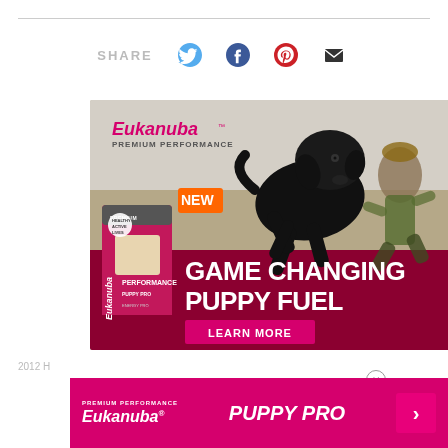SHARE
[Figure (infographic): Eukanuba Premium Performance dog food advertisement featuring a black Labrador puppy running outdoors with a trainer in background. Shows 'NEW' orange badge, product bag, and text 'GAME CHANGING PUPPY FUEL' with 'LEARN MORE' button on dark red background.]
[Figure (infographic): Eukanuba Premium Performance Puppy Pro bottom banner advertisement in pink/magenta with arrow button.]
2012 H